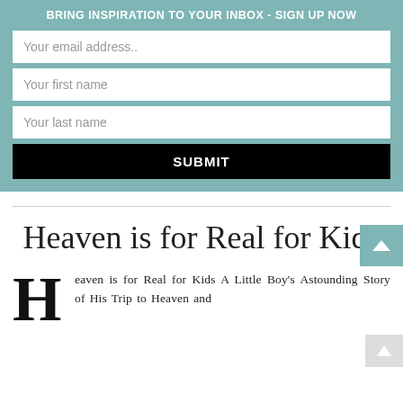BRING INSPIRATION TO YOUR INBOX - SIGN UP NOW
Your email address..
Your first name
Your last name
SUBMIT
Heaven is for Real for Kids
Heaven is for Real for Kids A Little Boy's Astounding Story of His Trip to Heaven and